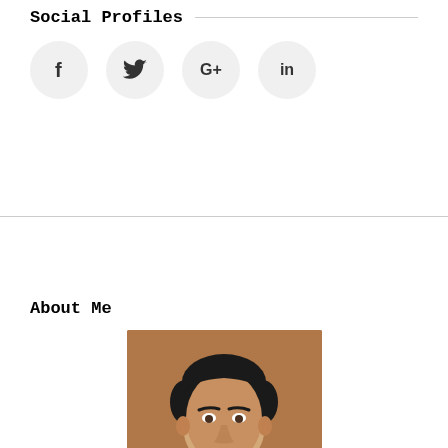Social Profiles
[Figure (infographic): Four social media icon circles: Facebook (f), Twitter (bird icon), Google+ (G+), LinkedIn (in)]
About Me
[Figure (photo): Portrait photo of a man with dark hair against a brown background]